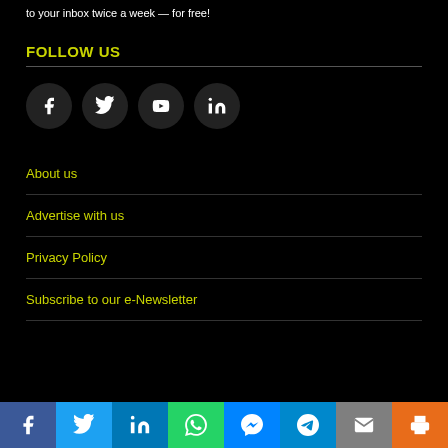to your inbox twice a week — for free!
FOLLOW US
[Figure (other): Social media icon buttons: Facebook, Twitter, YouTube, LinkedIn]
About us
Advertise with us
Privacy Policy
Subscribe to our e-Newsletter
Share bar with Facebook, Twitter, LinkedIn, WhatsApp, Messenger, Telegram, Email, Print